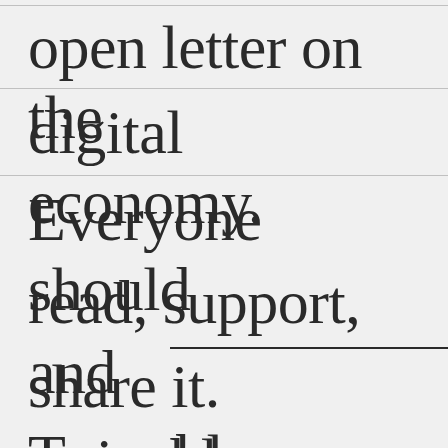open letter on the digital economy. Everyone should read, support, and share it. Tappable, swipable fabrics. I